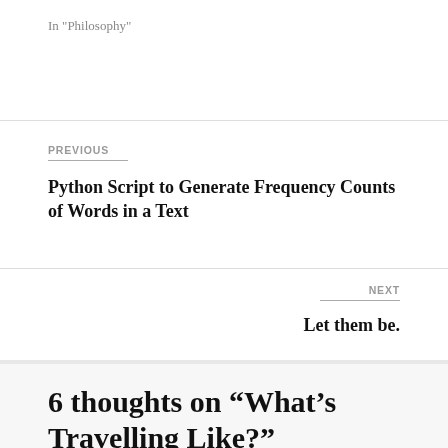In "Philosophy"
PREVIOUS
Python Script to Generate Frequency Counts of Words in a Text
NEXT
Let them be.
6 thoughts on “What’s Travelling Like?”